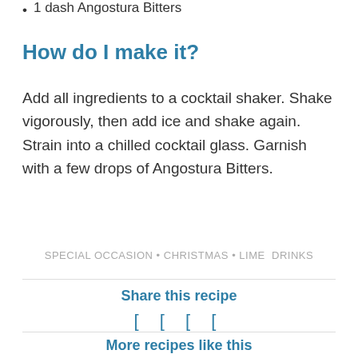1 dash Angostura Bitters
How do I make it?
Add all ingredients to a cocktail shaker. Shake vigorously, then add ice and shake again. Strain into a chilled cocktail glass. Garnish with a few drops of Angostura Bitters.
SPECIAL OCCASION • CHRISTMAS • LIME  DRINKS
Share this recipe
More recipes like this